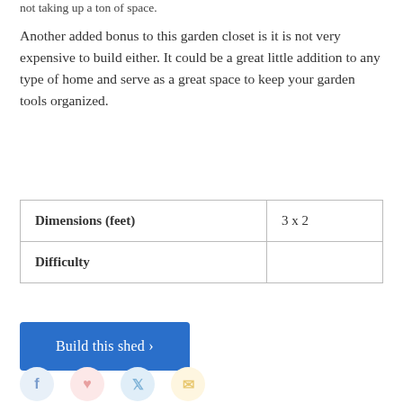not taking up a ton of space.
Another added bonus to this garden closet is it is not very expensive to build either. It could be a great little addition to any type of home and serve as a great space to keep your garden tools organized.
| Dimensions (feet) | 3 x 2 |
| Difficulty |  |
Build this shed ›